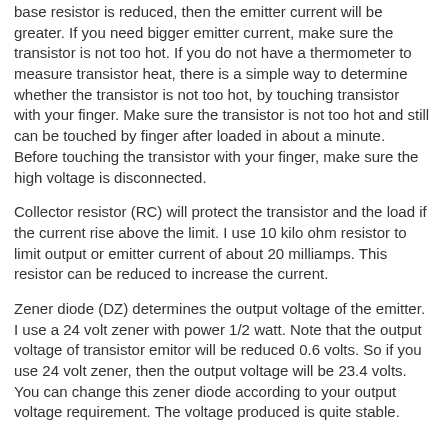base resistor is reduced, then the emitter current will be greater. If you need bigger emitter current, make sure the transistor is not too hot. If you do not have a thermometer to measure transistor heat, there is a simple way to determine whether the transistor is not too hot, by touching transistor with your finger. Make sure the transistor is not too hot and still can be touched by finger after loaded in about a minute. Before touching the transistor with your finger, make sure the high voltage is disconnected.
Collector resistor (RC) will protect the transistor and the load if the current rise above the limit. I use 10 kilo ohm resistor to limit output or emitter current of about 20 milliamps. This resistor can be reduced to increase the current.
Zener diode (DZ) determines the output voltage of the emitter. I use a 24 volt zener with power 1/2 watt. Note that the output voltage of transistor emitor will be reduced 0.6 volts. So if you use 24 volt zener, then the output voltage will be 23.4 volts. You can change this zener diode according to your output voltage requirement. The voltage produced is quite stable.